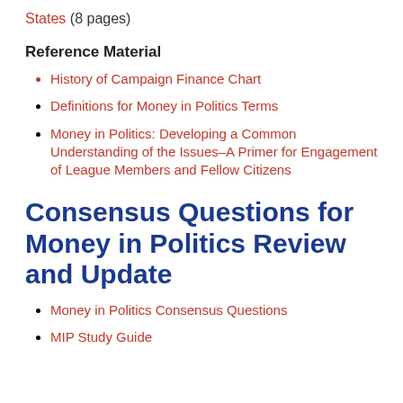States (8 pages)
Reference Material
History of Campaign Finance Chart
Definitions for Money in Politics Terms
Money in Politics: Developing a Common Understanding of the Issues–A Primer for Engagement of League Members and Fellow Citizens
Consensus Questions for Money in Politics Review and Update
Money in Politics Consensus Questions
MIP Study Guide